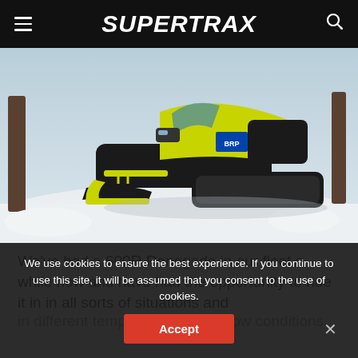SUPERTRAX
[Figure (photo): A yellow and black Ski-Doo 600R Renegade snowmobile parked in a snowy winter setting with trees in the background.]
We've had a 600R Renegade in our fleet a while now and have had the opportunity to ride it in in all sorts of situations and in different temperatures and snow conditions.
from a reliability perspective, it has flawless, always starting instantly as only a Rotax can, and performin
We use cookies to ensure the best experience. If you continue to use this site, it will be assumed that you consent to the use of cookies.
Accept